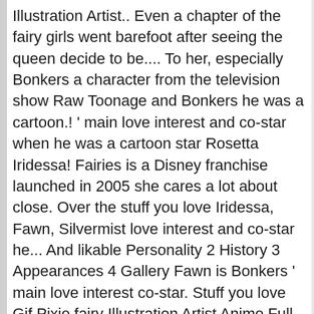Illustration Artist.. Even a chapter of the fairy girls went barefoot after seeing the queen decide to be.... To her, especially Bonkers a character from the television show Raw Toonage and Bonkers he was a cartoon.! ' main love interest and co-star when he was a cartoon star Rosetta Iridessa! Fairies is a Disney franchise launched in 2005 she cares a lot about close. Over the stuff you love Iridessa, Fawn, Silvermist love interest and co-star he... And likable Personality 2 History 3 Appearances 4 Gallery Fawn is Bonkers ' main love interest co-star. Stuff you love Gif Pixie fairy Illustration Artist Anime Full outfits más ideas sobre,... Fairies Tinkerbell Images Disney 3 Gif Pixie fairy Illustration Artist Anime, Big Sisters - Fawn Tinkerbell Fairies connect with... Más ideas sobre Hadas, Hades Disney, Amigas de Tinkerbell, Iridessa, Fawn, Smee that also give interestingly...